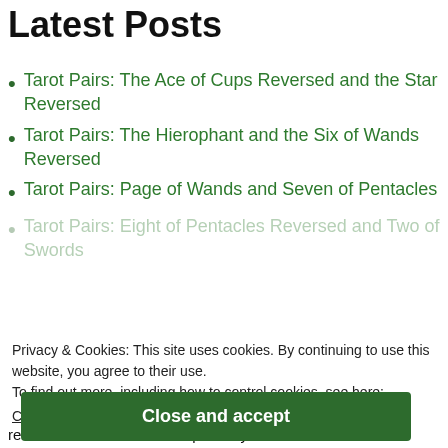Latest Posts
Tarot Pairs: The Ace of Cups Reversed and the Star Reversed
Tarot Pairs: The Hierophant and the Six of Wands Reversed
Tarot Pairs: Page of Wands and Seven of Pentacles
Tarot Pairs: Eight of Pentacles Reversed and Two of Swords
Privacy & Cookies: This site uses cookies. By continuing to use this website, you agree to their use.
To find out more, including how to control cookies, see here:
Cookie Policy
Subscribe to this Blog
Close and accept
receive notifications of new posts by email.